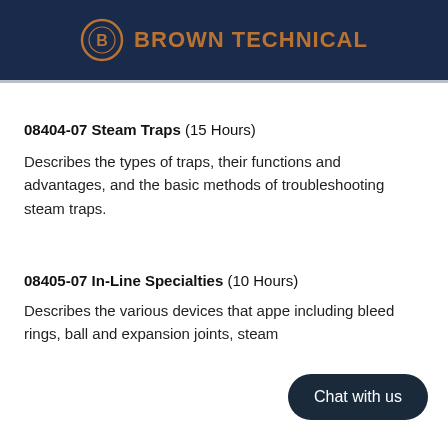BROWN TECHNICAL
08404-07 Steam Traps (15 Hours)
Describes the types of traps, their functions and advantages, and the basic methods of troubleshooting steam traps.
08405-07 In-Line Specialties (10 Hours)
Describes the various devices that appear including bleed rings, ball and expansion joints, steam